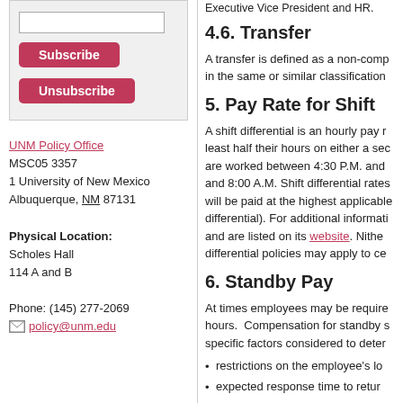[Subscribe/Unsubscribe widget with input box and buttons]
UNM Policy Office
MSC05 3357
1 University of New Mexico
Albuquerque, NM 87131

Physical Location:
Scholes Hall
114 A and B

Phone: (505) 277-2069
policy@unm.edu
4.6. Transfer
A transfer is defined as a non-comp in the same or similar classification
5. Pay Rate for Shift
A shift differential is an hourly pay r least half their hours on either a sec are worked between 4:30 P.M. and and 8:00 A.M. Shift differential rates will be paid at the highest applicable differential). For additional informati and are listed on its website. Neith differential policies may apply to ce
6. Standby Pay
At times employees may be require hours.  Compensation for standby s specific factors considered to deter
restrictions on the employee's lo
expected response time to retur